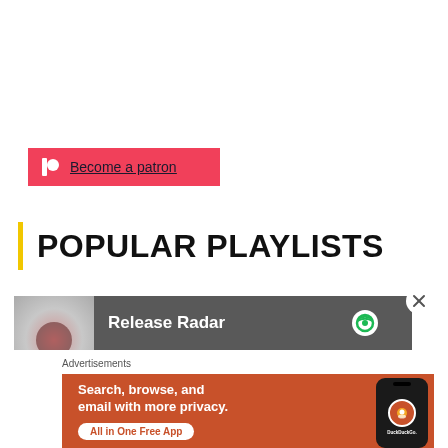[Figure (other): Patreon 'Become a patron' button with red background and Patreon logo]
POPULAR PLAYLISTS
[Figure (other): Release Radar playlist row with dark grey background, thumbnail image, white text and Spotify icon]
Advertisements
[Figure (other): DuckDuckGo advertisement banner: Search, browse, and email with more privacy. All in One Free App. Shows a phone with DuckDuckGo logo.]